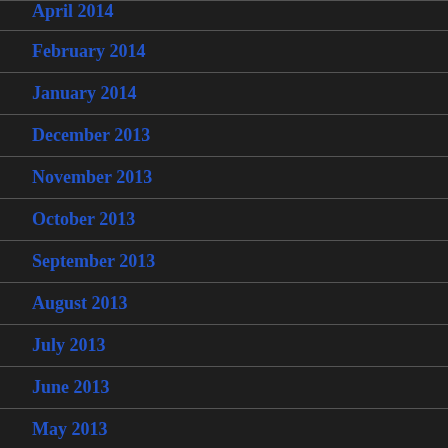April 2014
February 2014
January 2014
December 2013
November 2013
October 2013
September 2013
August 2013
July 2013
June 2013
May 2013